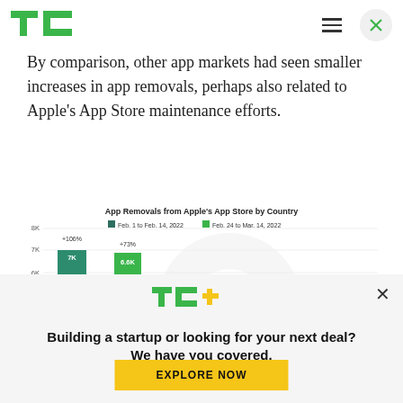TechCrunch logo, hamburger menu, close button
By comparison, other app markets had seen smaller increases in app removals, perhaps also related to Apple's App Store maintenance efforts.
[Figure (grouped-bar-chart): App Removals from Apple's App Store by Country]
[Figure (logo): TC+ logo in green and yellow]
Building a startup or looking for your next deal? We have you covered.
EXPLORE NOW